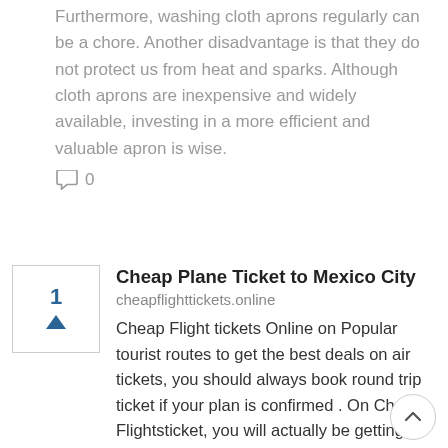Furthermore, washing cloth aprons regularly can be a chore. Another disadvantage is that they do not protect us from heat and sparks. Although cloth aprons are inexpensive and widely available, investing in a more efficient and valuable apron is wise.
0
Cheap Plane Ticket to Mexico City
cheapflighttickets.online
Cheap Flight tickets Online on Popular tourist routes to get the best deals on air tickets, you should always book round trip ticket if your plan is confirmed . On Cheap Flightsticket, you will actually be getting Cheap air ticket on every booking.
<a href= " https://cheapflighttickets.online ">Cheap Flight tickets online</a><a href= "